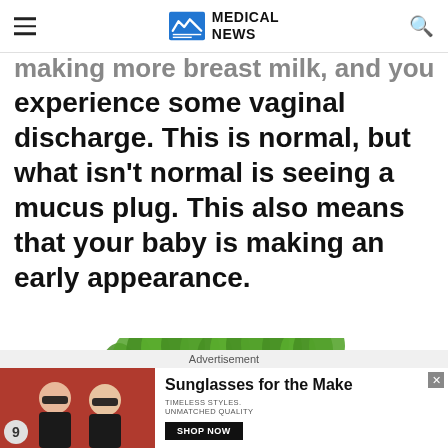Medical News
making more breast milk, and you'll experience some vaginal discharge. This is normal, but what isn't normal is seeing a mucus plug. This also means that your baby is making an early appearance.
[Figure (photo): Bunch of green celery stalks photographed against a white background]
Advertisement
[Figure (photo): Advertisement banner: two women wearing sunglasses. Text reads 'Sunglasses for the Make. TIMELESS STYLES. UNMATCHED QUALITY. SHOP NOW']